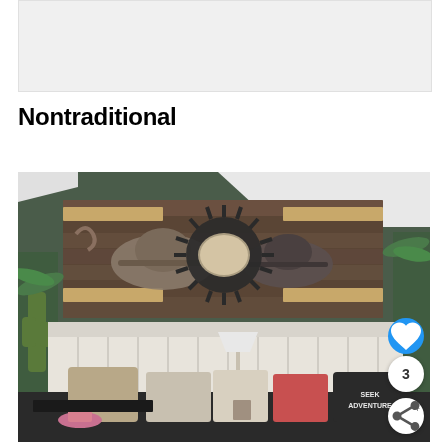[Figure (photo): Light gray/white placeholder image area at the top of the page]
Nontraditional
[Figure (photo): Interior room photo showing a rustic pallet wood wall display with a sunburst mirror in the center, two hats on either side, mounted on a dark olive/gray accent wall above a white tufted sofa. Room decorated with cactus, potted palms, bohemian pillows including one that reads SEEK ADVENTURE. Blue heart button, share button, and number 3 visible in bottom right corner.]